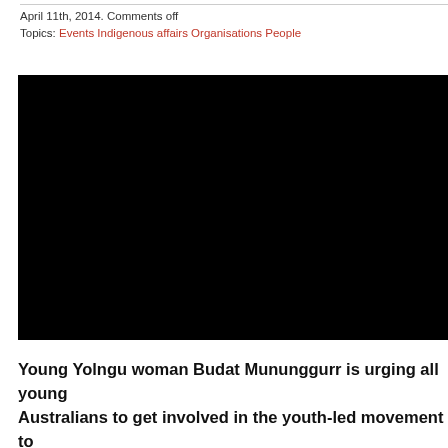April 11th, 2014. Comments off
Topics: Events Indigenous affairs Organisations People
[Figure (photo): Black rectangle representing an embedded video player, completely black/unloaded.]
Young Yolngu woman Budat Mununggurr is urging all young Australians to get involved in the youth-led movement to